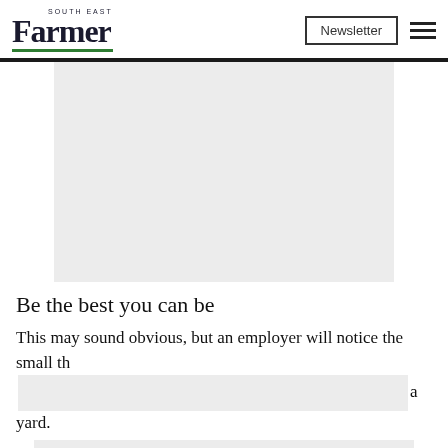South East Farmer — Newsletter [hamburger menu]
[Figure (other): Grey advertisement placeholder block]
Be the best you can be
This may sound obvious, but an employer will notice the small th[...advertisement...]a yard.
Tom M...